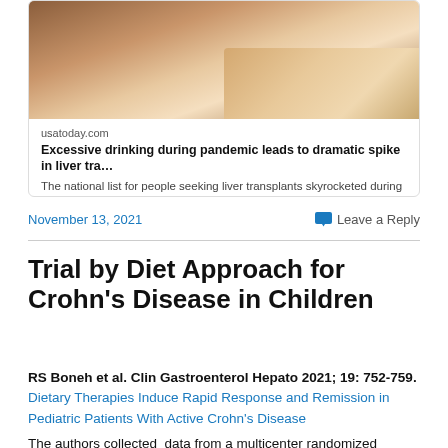[Figure (screenshot): Article preview card from usatoday.com with thumbnail image showing hands and text: 'Excessive drinking during pandemic leads to dramatic spike in liver tra...' and description 'The national list for people seeking liver transplants skyrocketed during the pandemic, shooting up 50% higher than originally predicted befor...']
November 13, 2021
Leave a Reply
Trial by Diet Approach for Crohn's Disease in Children
RS Boneh et al. Clin Gastroenterol Hepato 2021; 19: 752-759. Dietary Therapies Induce Rapid Response and Remission in Pediatric Patients With Active Crohn's Disease
The authors collected  data from a multicenter randomized